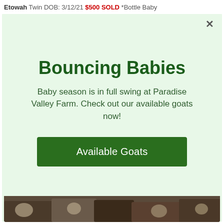Etowah Twin DOB: 3/12/21 $500 SOLD *Bottle Baby
Bouncing Babies
Baby season is in full swing at Paradise Valley Farm. Check out our available goats now!
Available Goats
[Figure (photo): Photo strip of goats at the bottom of the page]